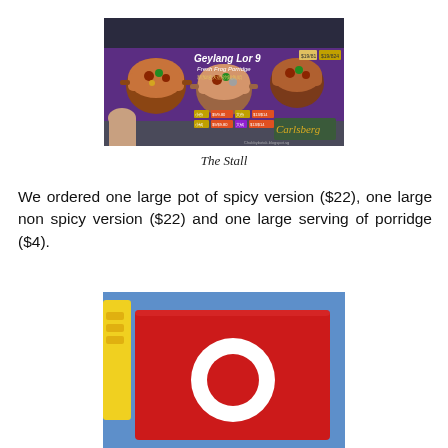[Figure (photo): Photo of a food stall sign reading 'Geylang Lor 9 Fresh Frog Porridge' with images of clay pot dishes and a Carlsberg beer sign, showing a woman in the foreground.]
The Stall
We ordered one large pot of spicy version ($22), one large non spicy version ($22) and one large serving of porridge ($4).
[Figure (photo): Photo showing a red sign/placard with a white circular number on it, on a blue table background, with a yellow object partially visible on the left.]